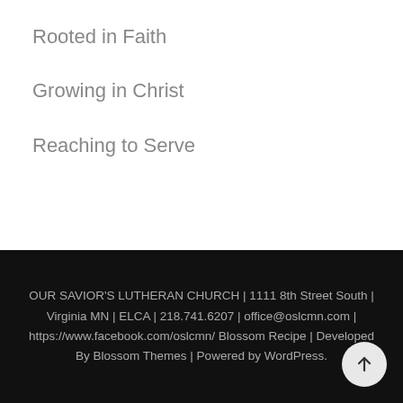Rooted in Faith
Growing in Christ
Reaching to Serve
OUR SAVIOR'S LUTHERAN CHURCH | 1111 8th Street South | Virginia MN | ELCA | 218.741.6207 | office@oslcmn.com | https://www.facebook.com/oslcmn/ Blossom Recipe | Developed By Blossom Themes | Powered by WordPress.